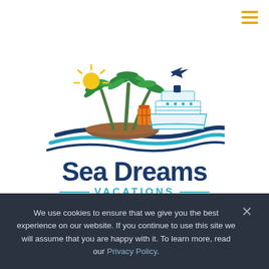[Figure (logo): Sea Dreams Vacations logo featuring palm trees on a tropical island with a cruise ship, luggage, airplane, sun, and ocean waves. Text reads 'Sea Dreams VACATIONS' in navy blue and teal.]
We use cookies to ensure that we give you the best experience on our website. If you continue to use this site we will assume that you are happy with it. To learn more, read our Privacy Policy.